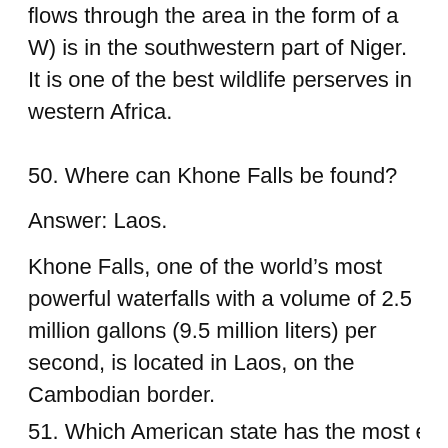flows through the area in the form of a W) is in the southwestern part of Niger. It is one of the best wildlife perserves in western Africa.
50. Where can Khone Falls be found?
Answer: Laos.
Khone Falls, one of the world’s most powerful waterfalls with a volume of 2.5 million gallons (9.5 million liters) per second, is located in Laos, on the Cambodian border.
51. Which American state has the most earthquakes?